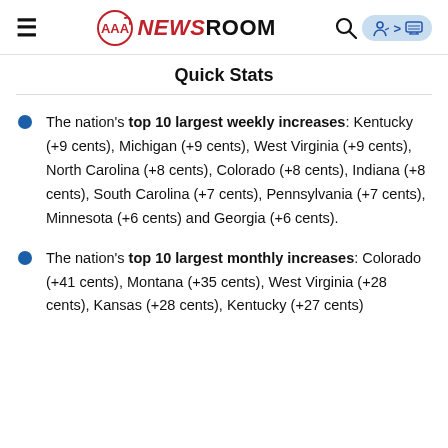AAA NEWSROOM
Quick Stats
The nation's top 10 largest weekly increases: Kentucky (+9 cents), Michigan (+9 cents), West Virginia (+9 cents), North Carolina (+8 cents), Colorado (+8 cents), Indiana (+8 cents), South Carolina (+7 cents), Pennsylvania (+7 cents), Minnesota (+6 cents) and Georgia (+6 cents).
The nation's top 10 largest monthly increases: Colorado (+41 cents), Montana (+35 cents), West Virginia (+28 cents), Kansas (+28 cents), Kentucky (+27 cents)